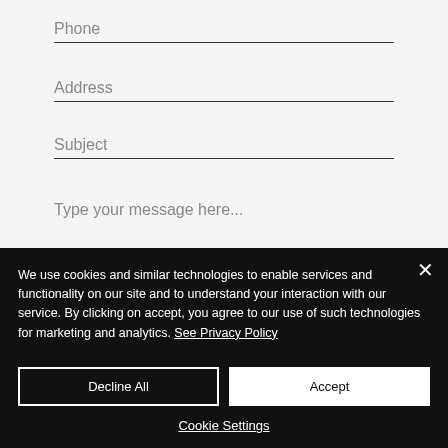Phone
Address
Subject
Type your message here...
We use cookies and similar technologies to enable services and functionality on our site and to understand your interaction with our service. By clicking on accept, you agree to our use of such technologies for marketing and analytics. See Privacy Policy
Decline All
Accept
Cookie Settings